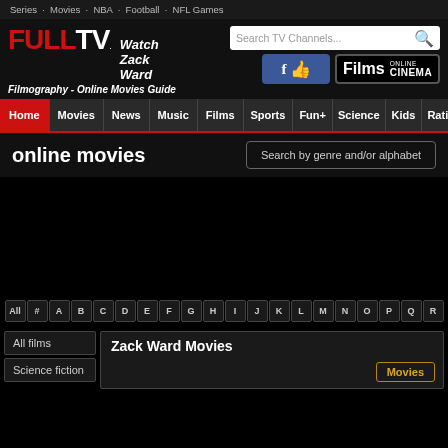Series · Movies · NBA · Football · NFL Games
FULLTV. Watch Zack Ward Filmography - Online Movies Guide
[Figure (screenshot): Facebook like button]
[Figure (screenshot): Films Online Cinema button]
Home Movies News Music Films Sports Fun+ Science Kids Rating
online movies
Search by genre and/or alphabet
All # A B C D E F G H I J K L M N O P Q R
All films
Science fiction
Zack Ward Movies
Movies